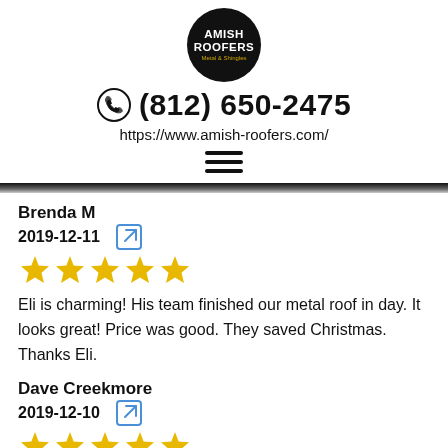[Figure (logo): Amish Roofers circular black logo with gold subtitle text]
(812) 650-2475
https://www.amish-roofers.com/
[Figure (other): Hamburger menu icon (three horizontal lines)]
Brenda M
2019-12-11
[Figure (other): 5 gold star rating]
Eli is charming! His team finished our metal roof in day. It looks great! Price was good. They saved Christmas. Thanks Eli.
Dave Creekmore
2019-12-10
[Figure (other): 5 gold star rating]